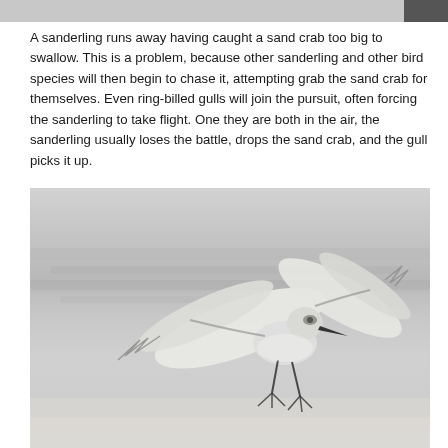A sanderling runs away having caught a sand crab too big to swallow. This is a problem, because other sanderling and other bird species will then begin to chase it, attempting grab the sand crab for themselves. Even ring-billed gulls will join the pursuit, often forcing the sanderling to take flight. One they are both in the air, the sanderling usually loses the battle, drops the sand crab, and the gull picks it up.
[Figure (photo): A sanderling bird in flight with wings spread wide, photographed against a blurred grey beach and ocean background. The bird has a dark beak, white and grey plumage, and dark legs dangling below.]